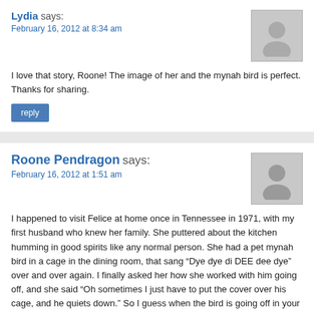Lydia says:
February 16, 2012 at 8:34 am
I love that story, Roone! The image of her and the mynah bird is perfect. Thanks for sharing.
reply
Roone Pendragon says:
February 16, 2012 at 1:51 am
I happened to visit Felice at home once in Tennessee in 1971, with my first husband who knew her family. She puttered about the kitchen humming in good spirits like any normal person. She had a pet mynah bird in a cage in the dining room, that sang “Dye dye di DEE dee dye” over and over again. I finally asked her how she worked with him going off, and she said “Oh sometimes I just have to put the cover over his cage, and he quiets down.” So I guess when the bird is going off in your head singing someone else’s song, you just need to put a bag over its head and get back to work on your song. She was a real sweet lady.
reply